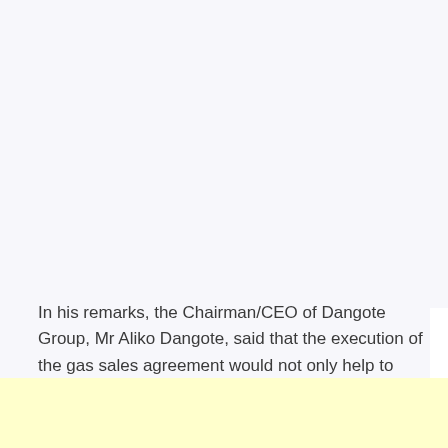In his remarks, the Chairman/CEO of Dangote Group, Mr Aliko Dangote, said that the execution of the gas sales agreement would not only help to meet up